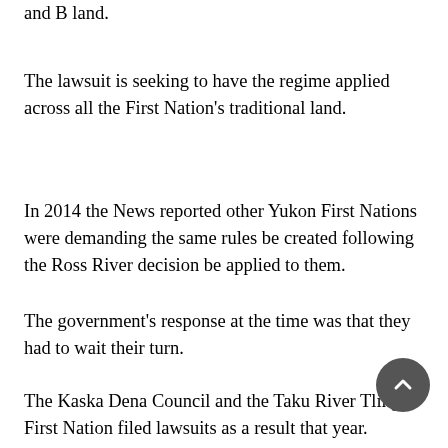and B land.
The lawsuit is seeking to have the regime applied across all the First Nation's traditional land.
In 2014 the News reported other Yukon First Nations were demanding the same rules be created following the Ross River decision be applied to them.
The government's response at the time was that they had to wait their turn.
The Kaska Dena Council and the Taku River Tlingit First Nation filed lawsuits as a result that year.
The Yukon government at the time said the next step was to work “with First Nations and industry on setting revised thresholds for Class 1 certification that will apply across all f